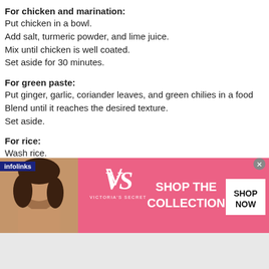For chicken and marination:
Put chicken in a bowl.
Add salt, turmeric powder, and lime juice.
Mix until chicken is well coated.
Set aside for 30 minutes.
For green paste:
Put ginger, garlic, coriander leaves, and green chilies in a food processor.
Blend until it reaches the desired texture.
Set aside.
For rice:
Wash rice.
Soak for 30 minutes.
Drain.
Set aside.
Set a heavy bottom pan over medium heat.
Add oil and let it heat.
Add shahjeera and bay leaves.
[Figure (advertisement): Victoria's Secret advertisement banner with a model, VS logo, 'SHOP THE COLLECTION' text and 'SHOP NOW' button on pink background. Infolinks label at top left.]